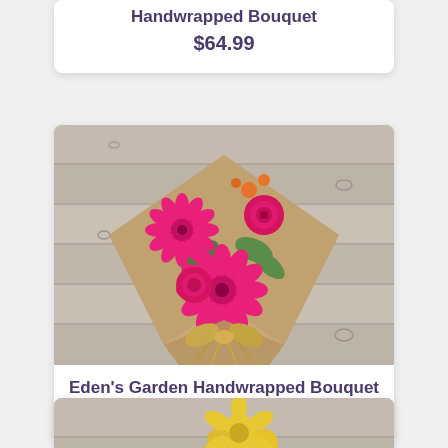Handwrapped Bouquet
$64.99
[Figure (photo): Pink gerbera daisies and roses handwrapped in brown kraft paper with raffia bow, laid on a wooden surface]
Eden's Garden Handwrapped Bouquet
$64.99
[Figure (photo): Partially visible floral bouquet at bottom of page]